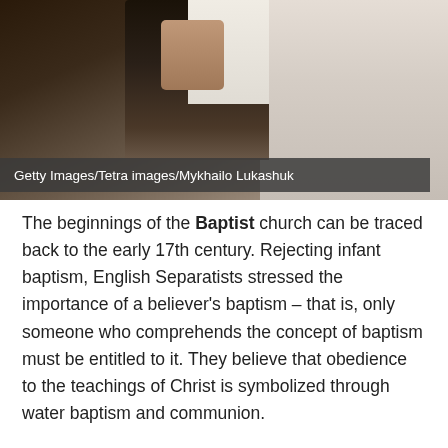[Figure (photo): A priest or minister in white vestments and dark clothing grasping what appears to be a wooden pew or lectern, photographed in a church setting. The right side shows a light-colored decorative wall.]
Getty Images/Tetra images/Mykhailo Lukashuk
The beginnings of the Baptist church can be traced back to the early 17th century. Rejecting infant baptism, English Separatists stressed the importance of a believer's baptism – that is, only someone who comprehends the concept of baptism must be entitled to it. They believe that obedience to the teachings of Christ is symbolized through water baptism and communion.
A local Baptist church has a free hand in finding, and even ordaining its own pastors, which are not assigned by leaders of their Church. Thus, pastors can go from one church to another and can also be removed by the